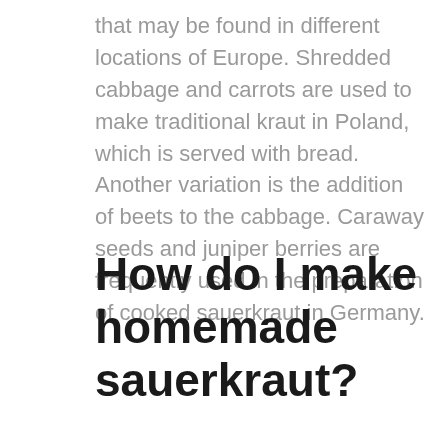that may be found in different locations of Europe. Shredded cabbage and carrots are used to make traditional kraut in Poland, which is served with bread. Another variation is the addition of beets to the cabbage. Caraway seeds and juniper berries are frequently used in the preparation of cooked sauerkraut in Germany.
How do I make homemade sauerkraut?